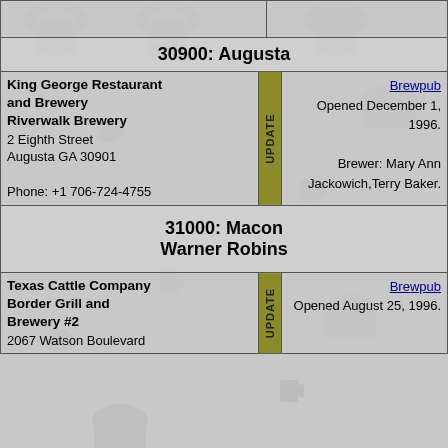30900: Augusta
| Name/Address | UPDATE | Details |
| --- | --- | --- |
| King George Restaurant and Brewery
Riverwalk Brewery
2 Eighth Street
Augusta GA 30901

Phone: +1 706-724-4755 | UPDATE | Brewpub
Opened December 1, 1996.
Brewer: Mary Ann Jackowich,Terry Baker. |
31000: Macon
Warner Robins
| Name/Address | UPDATE | Details |
| --- | --- | --- |
| Texas Cattle Company Border Grill and Brewery #2
2067 Watson Boulevard | UPDATE | Brewpub
Opened August 25, 1996. |